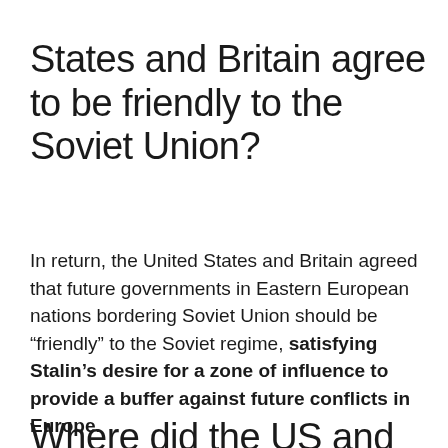States and Britain agree to be friendly to the Soviet Union?
In return, the United States and Britain agreed that future governments in Eastern European nations bordering Soviet Union should be “friendly” to the Soviet regime, satisfying Stalin’s desire for a zone of influence to provide a buffer against future conflicts in Europe.
Where did the US and Britain meet in 1943?